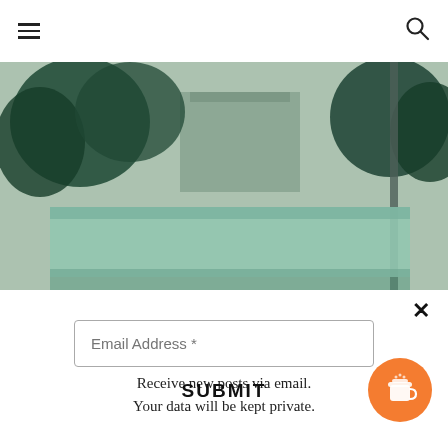≡ (hamburger menu) and search icon
[Figure (photo): Partial top photo strip showing green/teal toned outdoor scene with traffic light]
[Figure (photo): Outdoor photo with teal/green tone showing trees, a building, a barrier/wall structure, and a pole against an overcast sky]
× (close button)
Email Address *
Receive new posts via email. Your data will be kept private.
SUBMIT
[Figure (photo): Bottom strip of another outdoor photo, teal/green toned]
[Figure (illustration): Orange circular button with coffee cup icon]